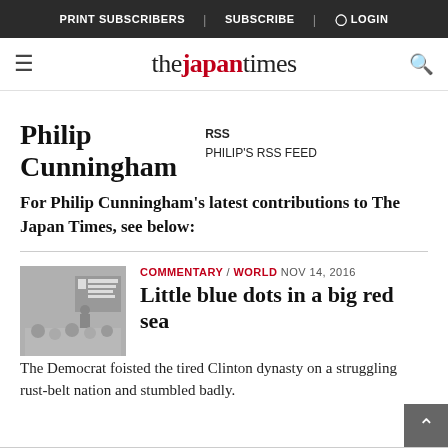PRINT SUBSCRIBERS | SUBSCRIBE | LOGIN
[Figure (logo): The Japan Times logo with hamburger menu and search icon]
Philip Cunningham
RSS
PHILIP'S RSS FEED
For Philip Cunningham's latest contributions to The Japan Times, see below:
COMMENTARY / WORLD NOV 14, 2016
Little blue dots in a big red sea
The Democrat foisted the tired Clinton dynasty on a struggling rust-belt nation and stumbled badly.